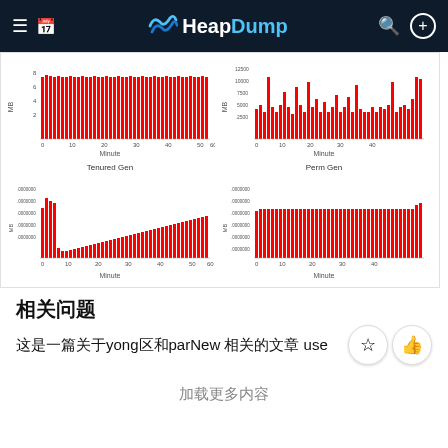HeapDump
[Figure (bar-chart): Four memory generation charts: two on top row (no title visible, MB vs Minute), two on bottom row (Tenured Gen and Perm Gen, MB vs Minute). All charts show red bar histograms.]
相关问题
这是一篇关于yong区和parNew 相关的文章 use
加载更多内容